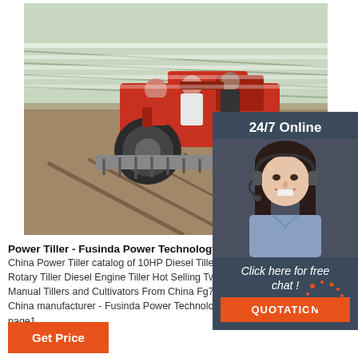[Figure (photo): Farmers riding a red tractor/power tiller over plowed field rows with plastic mulch film, agricultural scene.]
[Figure (photo): 24/7 Online customer service sidebar panel with photo of a smiling female agent wearing headset, blue shirt, dark background. Includes 'Click here for free chat!' text and orange QUOTATION button.]
Power Tiller - Fusinda Power Technology Co. Li...
China Power Tiller catalog of 10HP Diesel Tiller Po... Rotary Tiller Diesel Engine Tiller Hot Selling Two Wheel Powerful Manual Tillers and Cultivators From China Fg750c provided by China manufacturer - Fusinda Power Technology Co. Limited page1.
[Figure (logo): TOP logo with orange dots/sparks around letters]